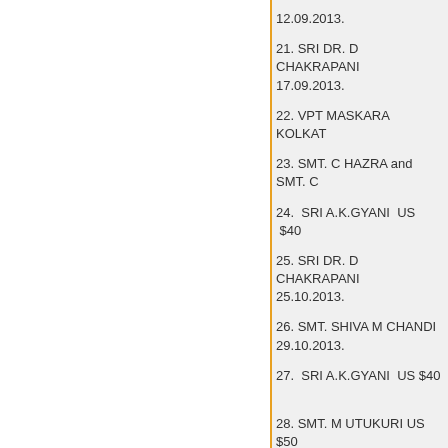12.09.2013.
21. SRI DR. D CHAKRAPANI 17.09.2013.
22. VPT MASKARA  KOLKAT
23. SMT. C HAZRA and SMT. C
24.  SRI A.K.GYANI  US  $40
25. SRI DR. D CHAKRAPANI 25.10.2013.
26. SMT. SHIVA M CHANDI  29.10.2013.
27.  SRI A.K.GYANI  US $40
28. SMT. M UTUKURI US $50
29. SRI M MUTHUSWAMY
30. SRI KUMARATHASAN R. date: 07-11-2013.